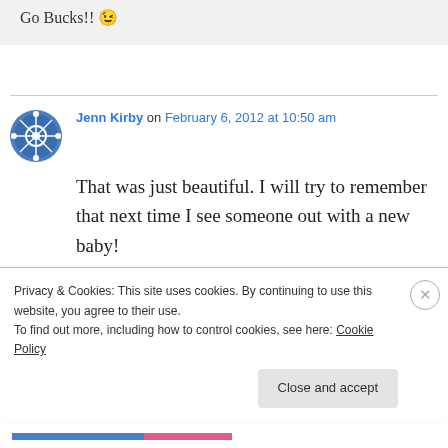Go Bucks!! 😉
Jenn Kirby on February 6, 2012 at 10:50 am
That was just beautiful. I will try to remember that next time I see someone out with a new baby!
Privacy & Cookies: This site uses cookies. By continuing to use this website, you agree to their use.
To find out more, including how to control cookies, see here: Cookie Policy
Close and accept